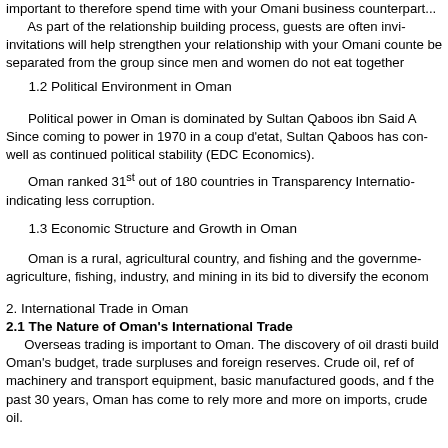important to therefore spend time with your Omani business counterpart...
As part of the relationship building process, guests are often invited... invitations will help strengthen your relationship with your Omani counterpart... be separated from the group since men and women do not eat together...
1.2 Political Environment in Oman
Political power in Oman is dominated by Sultan Qaboos ibn Said A... Since coming to power in 1970 in a coup d'etat, Sultan Qaboos has con... well as continued political stability (EDC Economics).
Oman ranked 31st out of 180 countries in Transparency Internatio... indicating less corruption.
1.3 Economic Structure and Growth in Oman
Oman is a rural, agricultural country, and fishing and the governme... agriculture, fishing, industry, and mining in its bid to diversify the econom...
2. International Trade in Oman
2.1 The Nature of Oman's International Trade
Overseas trading is important to Oman. The discovery of oil drasti... build Oman's budget, trade surpluses and foreign reserves. Crude oil, ref... of machinery and transport equipment, basic manufactured goods, and f... the past 30 years, Oman has come to rely more and more on imports,... crude oil.